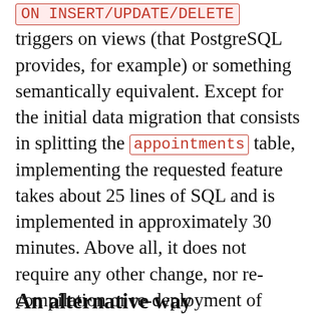ON INSERT/UPDATE/DELETE triggers on views (that PostgreSQL provides, for example) or something semantically equivalent. Except for the initial data migration that consists in splitting the appointments table, implementing the requested feature takes about 25 lines of SQL and is implemented in approximately 30 minutes. Above all, it does not require any other change, nor re-compilation or re-deployment of legacy software. This is what logical data independence is about.
An alternative way